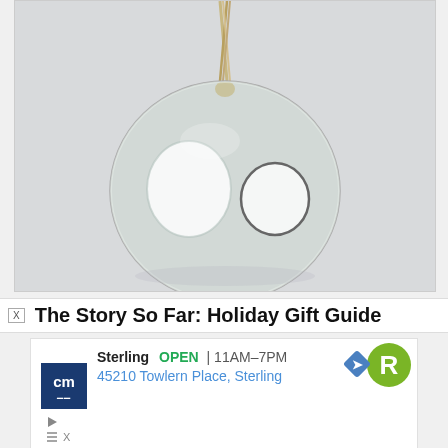[Figure (photo): A clear glass spherical terrarium/orb with two circular openings, hanging from a twisted rope/twine against a light gray background.]
The Story So Far: Holiday Gift Guide
[Figure (screenshot): Advertisement: CM logo (dark blue square with 'cm' text), Sterling business listing showing OPEN 11AM-7PM, 45210 Towlern Place, Sterling, with a green R badge and navigation icons.]